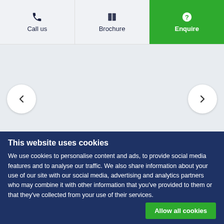Call us | Brochure | Enquire
[Figure (other): Image carousel area with left and right navigation arrows on a light blue-grey background]
Available homes
This website uses cookies
We use cookies to personalise content and ads, to provide social media features and to analyse our traffic. We also share information about your use of our site with our social media, advertising and analytics partners who may combine it with other information that you've provided to them or that they've collected from your use of their services.